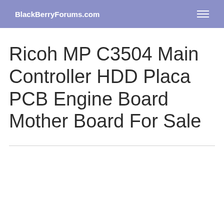BlackBerryForums.com
Ricoh MP C3504 Main Controller HDD Placa PCB Engine Board Mother Board For Sale